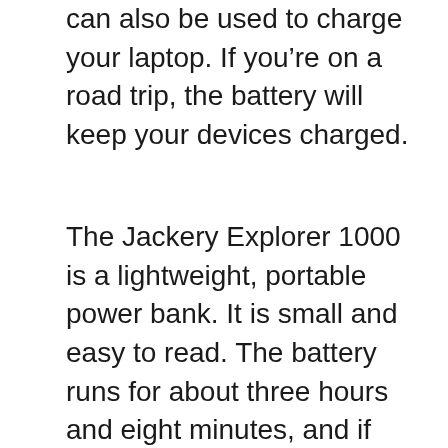can also be used to charge your laptop. If you're on a road trip, the battery will keep your devices charged.
The Jackery Explorer 1000 is a lightweight, portable power bank. It is small and easy to read. The battery runs for about three hours and eight minutes, and if you're using it in a camp site, you can use it as a solar generator for your electronics. The portable power station is midrange and has a 500-watt-hour rating. However, it's not a good idea to use this device for electric appliances.
The Jackery SolarSaga 60W is lightweight and convenient for outdoor use. It comes with a high-touch and fast...